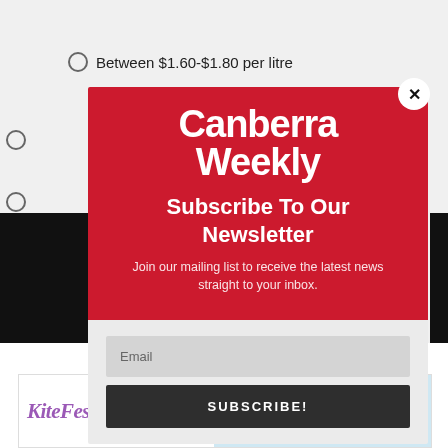Between $1.60-$1.80 per litre
[Figure (screenshot): Canberra Weekly newsletter subscription modal popup with red header showing logo, subscribe title, description, email input field, and subscribe button]
[Figure (infographic): KiteFest advertisement banner: KiteFest logo with kite icon and text FREE FUN AT GOOGONG]